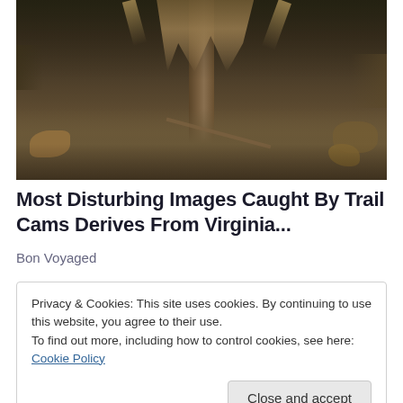[Figure (photo): Trail camera image showing deer legs visible at top of frame near a tree trunk, with forest floor ground cover, leaves, and sticks visible in the background. Dark, nighttime or low-light forest scene.]
Most Disturbing Images Caught By Trail Cams Derives From Virginia...
Bon Voyaged
Privacy & Cookies: This site uses cookies. By continuing to use this website, you agree to their use.
To find out more, including how to control cookies, see here: Cookie Policy
Close and accept